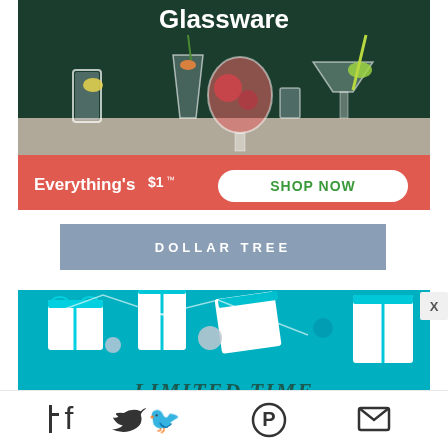[Figure (advertisement): Dollar Tree glassware advertisement showing cocktail glasses on dark green background with coral/red bottom bar reading 'Everything's $1™' and 'SHOP NOW' button]
DOLLAR TREE
[Figure (advertisement): Teal/cyan background advertisement showing gift boxes with ribbons and 'LIMITED TIME' text]
X
[Figure (infographic): Social media toolbar with Facebook, Twitter, Pinterest, email, and camera/rotate icons]